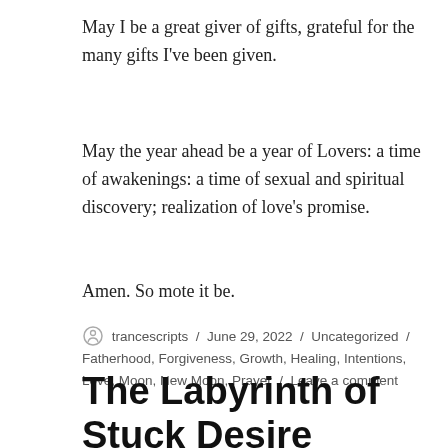May I be a great giver of gifts, grateful for the many gifts I've been given.
May the year ahead be a year of Lovers: a time of awakenings: a time of sexual and spiritual discovery; realization of love's promise.
Amen. So mote it be.
trancescripts / June 29, 2022 / Uncategorized / Fatherhood, Forgiveness, Growth, Healing, Intentions, Love, Moon, New Moon, Prayer / Leave a comment
The Labyrinth of Stuck Desire